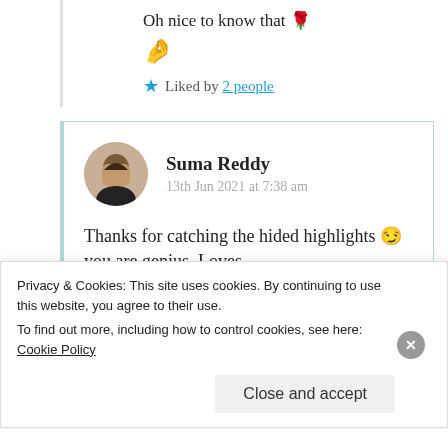Oh nice to know that 🌹
🤌
★ Liked by 2 people
Suma Reddy
13th Jun 2021 at 7:38 am
Thanks for catching the hided highlights 😏 you are genius. Loves
Privacy & Cookies: This site uses cookies. By continuing to use this website, you agree to their use.
To find out more, including how to control cookies, see here: Cookie Policy
Close and accept